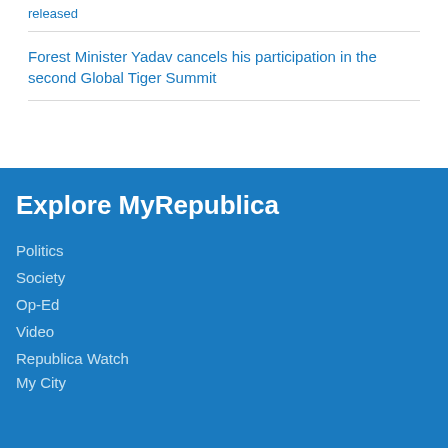released
Forest Minister Yadav cancels his participation in the second Global Tiger Summit
Explore MyRepublica
Politics
Society
Op-Ed
Video
Republica Watch
My City